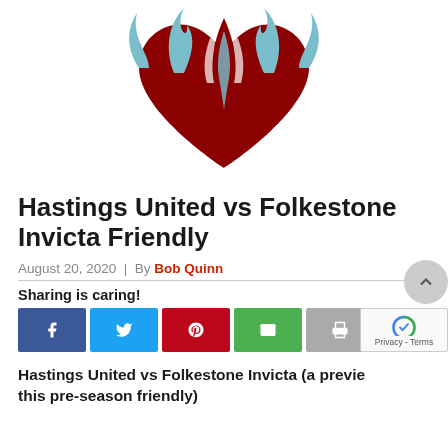[Figure (logo): Hastings United FC logo — dark red heart/flame shape with light blue wing-like flame elements on white background]
Hastings United vs Folkestone Invicta Friendly
August 20, 2020 | By Bob Quinn
Sharing is caring!
[Figure (other): Social share buttons: Facebook (blue), Twitter (light blue), Pinterest (red), Email (green), Print (grey)]
Hastings United vs Folkestone Invicta (a preview this pre-season friendly)